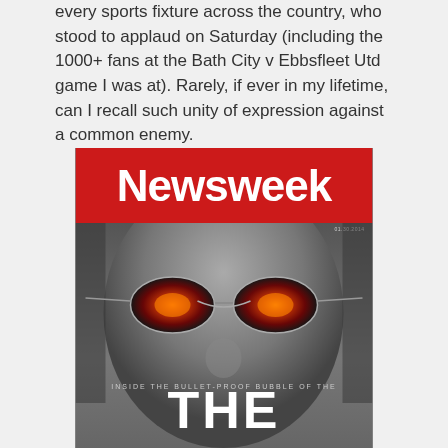every sports fixture across the country, who stood to applaud on Saturday (including the 1000+ fans at the Bath City v Ebbsfleet Utd game I was at). Rarely, if ever in my lifetime, can I recall such unity of expression against a common enemy.
[Figure (photo): Newsweek magazine cover featuring a black and white close-up of a man wearing aviator sunglasses with fiery reflections in the lenses. The red header displays 'Newsweek' in bold white text. Below the image text reads 'INSIDE THE BULLET-PROOF BUBBLE OF THE' and at the bottom 'THE'.]